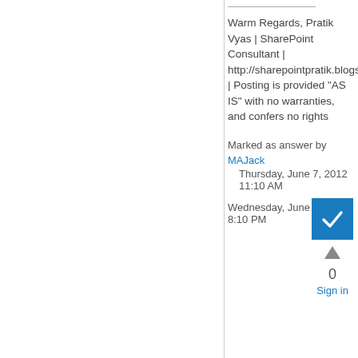Warm Regards, Pratik Vyas | SharePoint Consultant | http://sharepointpratik.blogspot.com/ | Posting is provided "AS IS" with no warranties, and confers no rights
Marked as answer by MAJack Thursday, June 7, 2012 11:10 AM
Wednesday, June 6, 2012 8:10 PM
[Figure (other): Blue checkbox with white checkmark (answered indicator), upvote arrow, vote count 0, and Sign in link]